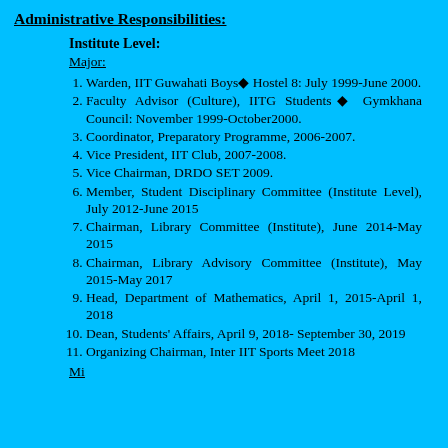Administrative Responsibilities:
Institute Level:
Major:
Warden, IIT Guwahati Boys� Hostel 8: July 1999-June 2000.
Faculty Advisor (Culture), IITG Students� Gymkhana Council: November 1999-October2000.
Coordinator, Preparatory Programme, 2006-2007.
Vice President, IIT Club, 2007-2008.
Vice Chairman, DRDO SET 2009.
Member, Student Disciplinary Committee (Institute Level), July 2012-June 2015
Chairman, Library Committee (Institute), June 2014-May 2015
Chairman, Library Advisory Committee (Institute), May 2015-May 2017
Head, Department of Mathematics, April 1, 2015-April 1, 2018
Dean, Students' Affairs, April 9, 2018- September 30, 2019
Organizing Chairman, Inter IIT Sports Meet 2018
Mi...